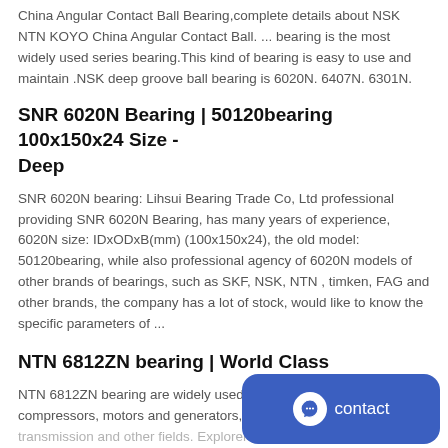China Angular Contact Ball Bearing,complete details about NSK NTN KOYO China Angular Contact Ball. ... bearing is the most widely used series bearing.This kind of bearing is easy to use and maintain .NSK deep groove ball bearing is 6020N. 6407N. 6301N.
SNR 6020N Bearing | 50120bearing 100x150x24 Size - Deep
SNR 6020N bearing: Lihsui Bearing Trade Co, Ltd professional providing SNR 6020N Bearing, has many years of experience, 6020N size: IDxODxB(mm) (100x150x24), the old model: 50120bearing, while also professional agency of 6020N models of other brands of bearings, such as SKF, NSK, NTN , timken, FAG and other brands, the company has a lot of stock, would like to know the specific parameters of ...
NTN 6812ZN bearing | World Class
NTN 6812ZN bearing are widely used in industrial drive, agriculture, compressors, motors and generators, construction, industrial transmission and other fields. Explorer series NTN 6812ZN bearing are better than any brand bearings currently in